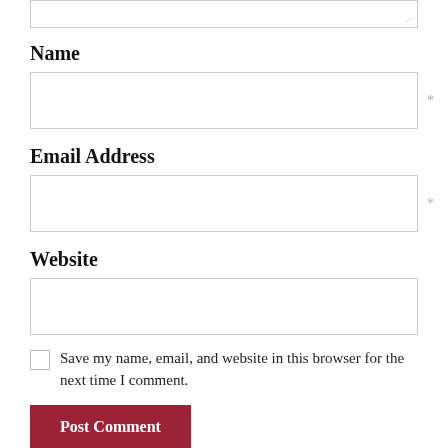[textarea top partial]
Name
[Name input field] *
Email Address
[Email Address input field] *
Website
[Website input field]
Save my name, email, and website in this browser for the next time I comment.
Post Comment